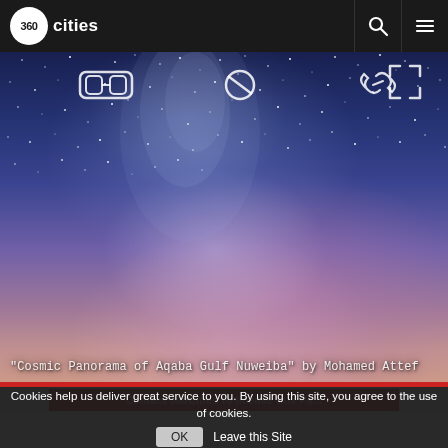360cities
[Figure (photo): 360-degree panoramic night sky photo showing the Milky Way galaxy over Aqaba Gulf Nuweiba, with deep blue starfield, purple and pink haze near the horizon, milky way core visible in the upper center area. Overlay icons: VR goggles, compass/direction icon, link icon, fullscreen icon. Caption: "Cosmic Panorama of Aqaba Gulf Nuweiba" by Mohamed Attef]
"Cosmic Panorama of Aqaba Gulf Nuweiba" by Mohamed Attef
Cookies help us deliver great service to you. By using this site, you agree to the use of cookies.
OK  Leave this Site